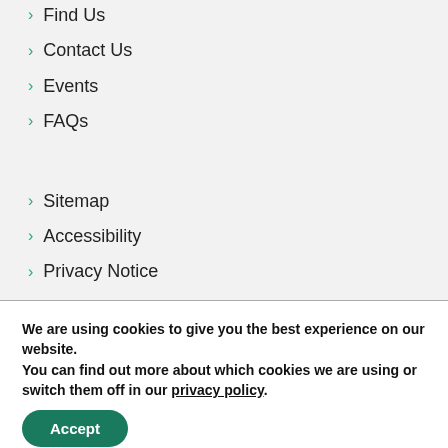Find Us
Contact Us
Events
FAQs
Sitemap
Accessibility
Privacy Notice
Cookies Notice
Donation T's & C's
We are using cookies to give you the best experience on our website.
You can find out more about which cookies we are using or switch them off in our privacy policy.
Accept